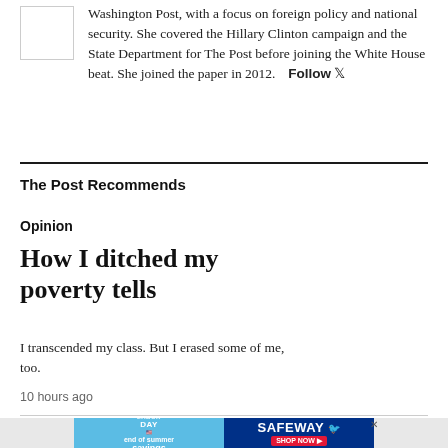Washington Post, with a focus on foreign policy and national security. She covered the Hillary Clinton campaign and the State Department for The Post before joining the White House beat. She joined the paper in 2012.  Follow
The Post Recommends
Opinion
How I ditched my poverty tells
I transcended my class. But I erased some of me, too.
10 hours ago
[Figure (other): Advertisement banner for Safeway Labor Day end of summer savings]